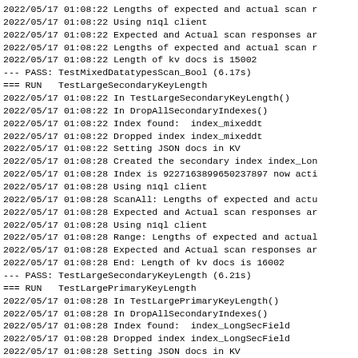2022/05/17 01:08:22 Lengths of expected and actual scan r
2022/05/17 01:08:22 Using n1ql client
2022/05/17 01:08:22 Expected and Actual scan responses ar
2022/05/17 01:08:22 Lengths of expected and actual scan r
2022/05/17 01:08:22 Length of kv docs is 15002
--- PASS: TestMixedDatatypesScan_Bool (6.17s)
=== RUN   TestLargeSecondaryKeyLength
2022/05/17 01:08:22 In TestLargeSecondaryKeyLength()
2022/05/17 01:08:22 In DropAllSecondaryIndexes()
2022/05/17 01:08:22 Index found:  index_mixeddt
2022/05/17 01:08:22 Dropped index index_mixeddt
2022/05/17 01:08:22 Setting JSON docs in KV
2022/05/17 01:08:28 Created the secondary index index_Lon
2022/05/17 01:08:28 Index is 9227163899650237897 now acti
2022/05/17 01:08:28 Using n1ql client
2022/05/17 01:08:28 ScanAll: Lengths of expected and actu
2022/05/17 01:08:28 Expected and Actual scan responses ar
2022/05/17 01:08:28 Using n1ql client
2022/05/17 01:08:28 Range: Lengths of expected and actual
2022/05/17 01:08:28 Expected and Actual scan responses ar
2022/05/17 01:08:28 End: Length of kv docs is 16002
--- PASS: TestLargeSecondaryKeyLength (6.21s)
=== RUN   TestLargePrimaryKeyLength
2022/05/17 01:08:28 In TestLargePrimaryKeyLength()
2022/05/17 01:08:28 In DropAllSecondaryIndexes()
2022/05/17 01:08:28 Index found:  index_LongSecField
2022/05/17 01:08:28 Dropped index index_LongSecField
2022/05/17 01:08:28 Setting JSON docs in KV
2022/05/17 01:08:34 Created the secondary index index_Lon
2022/05/17 01:08:34 Index is 17899624208412130326 now act
2022/05/17 01:08:34 Using n1ql client